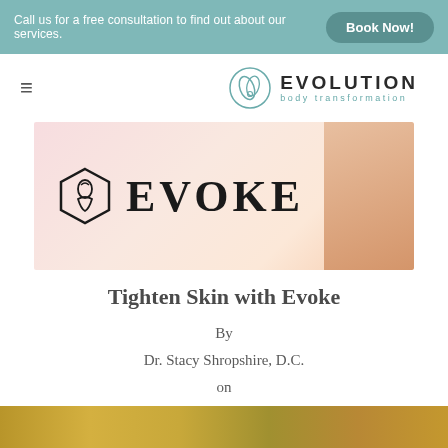Call us for a free consultation to find out about our services.   Book Now!
[Figure (logo): Evolution Body Transformation logo with circular leaf/drop emblem and hamburger menu icon]
[Figure (illustration): EVOKE brand banner with hexagonal logo and woman's face/neck profile on pink gradient background]
Tighten Skin with Evoke
By
Dr. Stacy Shropshire, D.C.
on
August 22, 2022
[Figure (photo): Partial bottom image strip, appears to show food or natural elements in warm tones]